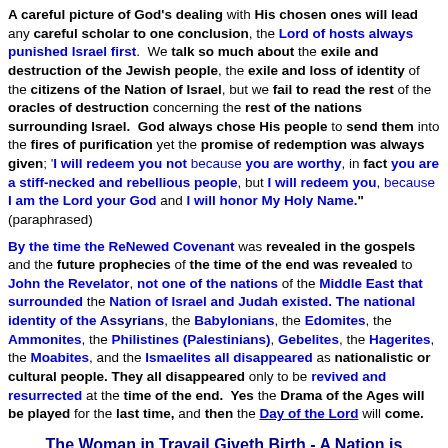A careful picture of God's dealing with His chosen ones will lead any careful scholar to one conclusion, the Lord of hosts always punished Israel first. We talk so much about the exile and destruction of the Jewish people, the exile and loss of identity of the citizens of the Nation of Israel, but we fail to read the rest of the oracles of destruction concerning the rest of the nations surrounding Israel. God always chose His people to send them into the fires of purification yet the promise of redemption was always given; 'I will redeem you not because you are worthy, in fact you are a stiff-necked and rebellious people, but I will redeem you, because I am the Lord your God and I will honor My Holy Name.' (paraphrased)
By the time the ReNewed Covenant was revealed in the gospels and the future prophecies of the time of the end was revealed to John the Revelator, not one of the nations of the Middle East that surrounded the Nation of Israel and Judah existed. The national identity of the Assyrians, the Babylonians, the Edomites, the Ammonites, the Philistines (Palestinians), Gebelites, the Hagerites, the Moabites, and the Ismaelites all disappeared as nationalistic or cultural people. They all disappeared only to be revived and resurrected at the time of the end. Yes the Drama of the Ages will be played for the last time, and then the Day of the Lord will come.
The Woman in Travail Giveth Birth - A Nation is Born, Israel